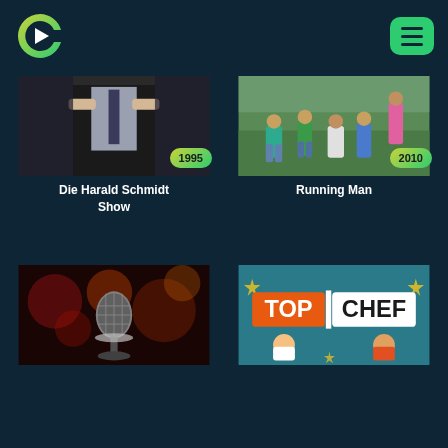[Figure (logo): Green and yellow C-shaped logo with a white play triangle inside, representing a video streaming app]
[Figure (other): Green hamburger menu button with three horizontal lines]
[Figure (photo): Man in black suit adjusting collar/cufflinks, year badge 1995]
Die Harald Schmidt Show
[Figure (photo): Group of young people sitting outdoors on grass, year badge 2010]
Running Man
[Figure (photo): Vintage silver microphone on dark red bokeh background (partial card, bottom of page)]
[Figure (photo): Top Chef show logo with teal background, cartoon chef characters (partial card, bottom of page)]